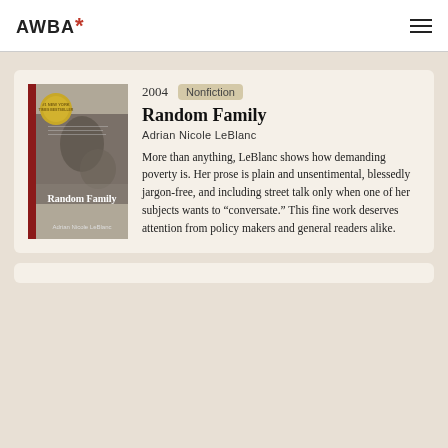AWBA*
[Figure (illustration): Book cover of 'Random Family' by Adrian Nicole LeBlanc — black and white photo cover with a gold medallion sticker, red spine stripe]
2004   Nonfiction
Random Family
Adrian Nicole LeBlanc
More than anything, LeBlanc shows how demanding poverty is. Her prose is plain and unsentimental, blessedly jargon-free, and including street talk only when one of her subjects wants to “conversate.” This fine work deserves attention from policy makers and general readers alike.